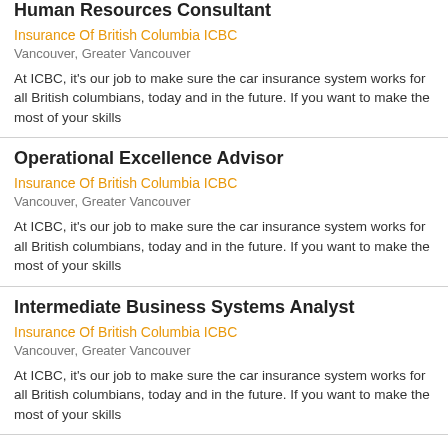Human Resources Consultant
Insurance Of British Columbia ICBC
Vancouver, Greater Vancouver
At ICBC, it's our job to make sure the car insurance system works for all British columbians, today and in the future. If you want to make the most of your skills
Operational Excellence Advisor
Insurance Of British Columbia ICBC
Vancouver, Greater Vancouver
At ICBC, it's our job to make sure the car insurance system works for all British columbians, today and in the future. If you want to make the most of your skills
Intermediate Business Systems Analyst
Insurance Of British Columbia ICBC
Vancouver, Greater Vancouver
At ICBC, it's our job to make sure the car insurance system works for all British columbians, today and in the future. If you want to make the most of your skills
executive vice-president - financial, communications and other business services
Axis Insurance Managers
Vancouver, Greater Vancouver